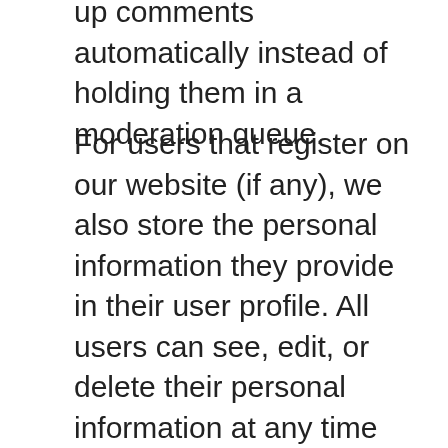up comments automatically instead of holding them in a moderation queue.
For users that register on our website (if any), we also store the personal information they provide in their user profile. All users can see, edit, or delete their personal information at any time (except they cannot change their username). Website administrators can also see and edit that information.
What rights you have over your data
If you have an account on this site, or have left comments, you can request to receive an exported file of the personal data we hold